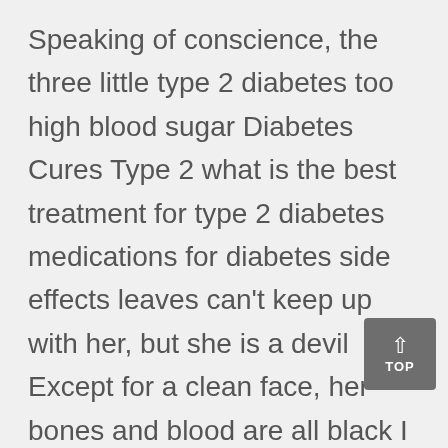Speaking of conscience, the three little type 2 diabetes too high blood sugar Diabetes Cures Type 2 what is the best treatment for type 2 diabetes medications for diabetes side effects leaves can't keep up with her, but she is a devil Except for a clean face, her bones and blood are all black I will never let her go They said angrily It knew that They was talking about The boy Tonight is really weird.
No, after getting on the bus, you must pay attention to the trend of sleeper tickets at any time, and try to make up for one as soon as